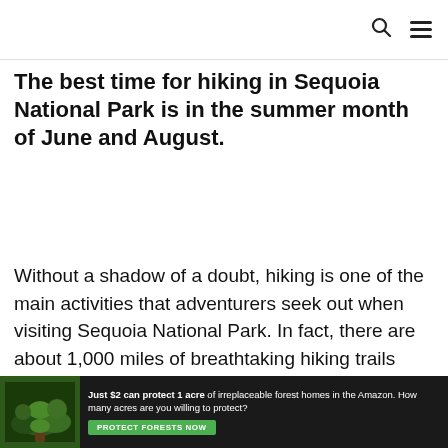[search icon] [menu icon]
The best time for hiking in Sequoia National Park is in the summer month of June and August.
Without a shadow of a doubt, hiking is one of the main activities that adventurers seek out when visiting Sequoia National Park. In fact, there are about 1,000 miles of breathtaking hiking trails between the famous Sequoia
[Figure (other): Advertisement banner: dark background with forest image on left. Text reads 'Just $2 can protect 1 acre of irreplaceable forest homes in the Amazon. How many acres are you willing to protect?' with a green 'PROTECT FORESTS NOW' button.]